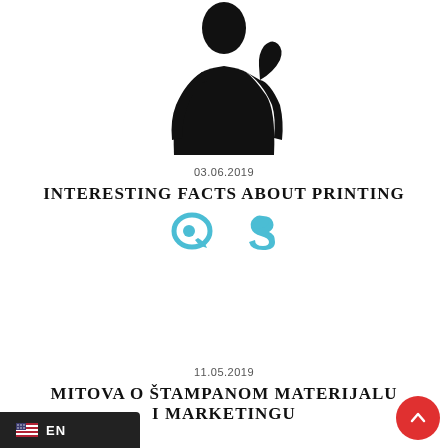[Figure (illustration): Black silhouette of a person (upper body/torso) centered at top of page]
03.06.2019
INTERESTING FACTS ABOUT PRINTING
[Figure (logo): Two social media icons in teal/cyan color - a circular arrow icon and a letter-S style icon]
11.05.2019
MITOVA O ŠTAMPANOM MATERIJALU I MARKETINGU
[Figure (other): Language selector button showing US flag and EN text on dark background, bottom left]
[Figure (other): Red circular back-to-top button with upward chevron, bottom right]